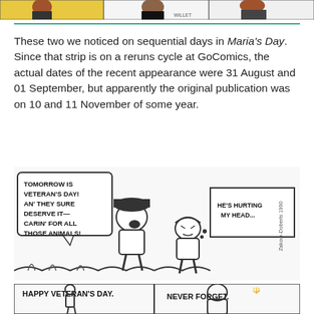[Figure (illustration): Top strip of comic panels partially visible at top of page]
These two we noticed on sequential days in Maria's Day. Since that strip is on a reruns cycle at GoComics, the actual dates of the recent appearance were 31 August and 01 September, but apparently the original publication was on 10 and 11 November of some year.
[Figure (illustration): Comic strip panel: A child character says 'TOMORROW IS VETERAN'S DAY! AN' THEY SURE DESERVE IT— CARIN' FOR ALL THOSE ANIMALS!' while another character thinks 'HE'S HURTING MY HEAD...' Signed Zakour-Doberts 1990.]
[Figure (illustration): Comic strip panel: Shows two frames. Left frame reads 'HAPPY VETERAN'S DAY.' with a child figure standing. Right frame shows a veteran/soldier figure reading 'NEVER FORGET.']